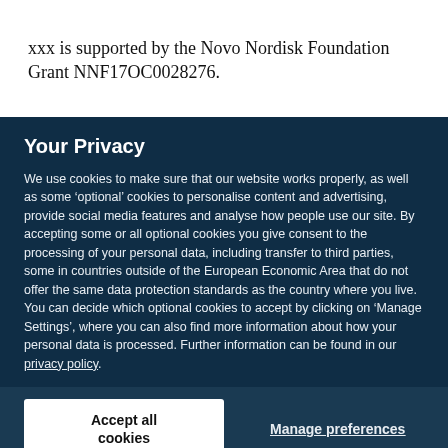xxx is supported by the Novo Nordisk Foundation Grant NNF17OC0028276.
Your Privacy
We use cookies to make sure that our website works properly, as well as some ‘optional’ cookies to personalise content and advertising, provide social media features and analyse how people use our site. By accepting some or all optional cookies you give consent to the processing of your personal data, including transfer to third parties, some in countries outside of the European Economic Area that do not offer the same data protection standards as the country where you live. You can decide which optional cookies to accept by clicking on ‘Manage Settings’, where you can also find more information about how your personal data is processed. Further information can be found in our privacy policy.
Accept all cookies
Manage preferences